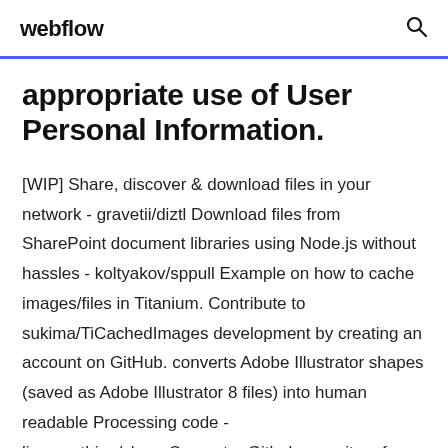webflow
appropriate use of User Personal Information.
[WIP] Share, discover & download files in your network - gravetii/diztl Download files from SharePoint document libraries using Node.js without hassles - koltyakov/sppull Example on how to cache images/files in Titanium. Contribute to sukima/TiCachedImages development by creating an account on GitHub. converts Adobe Illustrator shapes (saved as Adobe Illustrator 8 files) into human readable Processing code - liasomething/shapeConverter Github repository for the Gamehut "How to Code!"